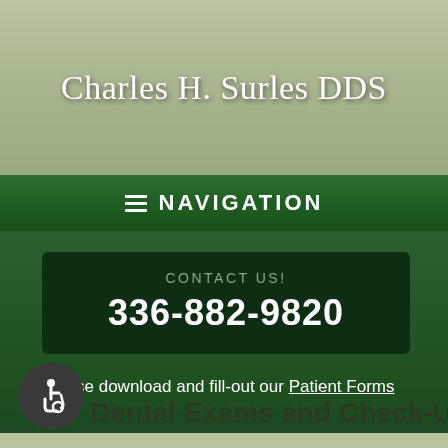Charles H. Surles DDS
≡ NAVIGATION
CONTACT US!
336-882-9820
Please download and fill-out our Patient Forms
[Figure (logo): Wheelchair accessibility icon in dark circle]
Dental Exams and Check-Ups